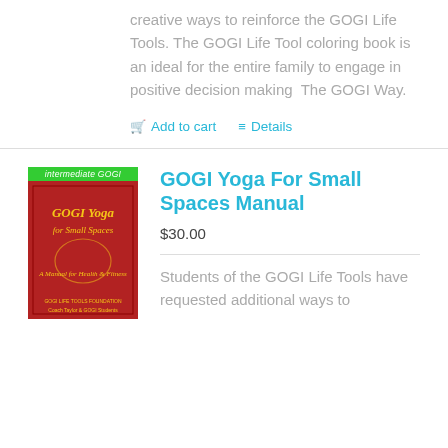creative ways to reinforce the GOGI Life Tools. The GOGI Life Tool coloring book is an ideal for the entire family to engage in positive decision making  The GOGI Way.
Add to cart   Details
[Figure (illustration): Book cover for GOGI Yoga For Small Spaces Manual with red background and yellow/gold italic text, with a green badge reading 'intermediate GOGI' at the top]
GOGI Yoga For Small Spaces Manual
$30.00
Students of the GOGI Life Tools have requested additional ways to